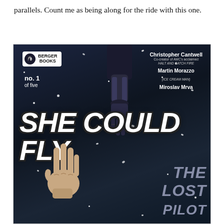parallels. Count me as being along for the ride with this one.
[Figure (illustration): Comic book cover for 'She Could Fly: The Lost Pilot' #1 of five, published by Berger Books. Dark blue-grey snowy background. A mechanical robotic arm descends from the top center, and a human hand reaches up from the bottom. Large white bold italic text reads 'SHE COULD FLY' with grey subtitle 'THE LOST PILOT'. Credits: Christopher Cantwell (Co-creator of AMC's acclaimed HALT AND CATCH FIRE), Martin Morazzo (ICE CREAM MAN), Miroslav Mrva. Berger Books badge in top left, 'no. 1 of five' below it.]